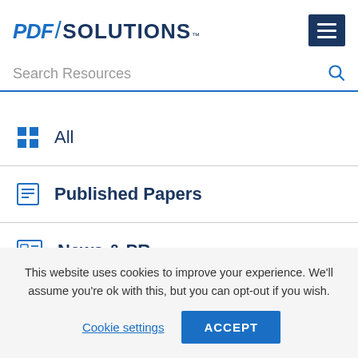PDF/SOLUTIONS™
Search Resources
All
Published Papers
News & PR
This website uses cookies to improve your experience. We'll assume you're ok with this, but you can opt-out if you wish.
Cookie settings  ACCEPT